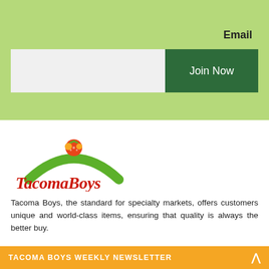Email
[Figure (infographic): Email input field (light gray rectangle) and a dark green 'Join Now' button side by side, on a light green background]
[Figure (logo): Tacoma Boys logo: red script lettering 'TacomaBoys' with a green arch above and a strawberry/fruit illustration on top]
Tacoma Boys, the standard for specialty markets, offers customers unique and world-class items, ensuring that quality is always the better buy.
TACOMA BOYS WEEKLY NEWSLETTER